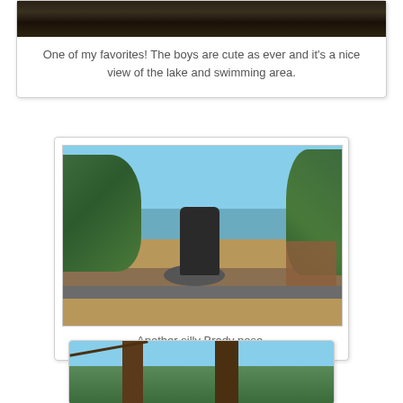[Figure (photo): Top portion of a photo showing dark rocky or cave ceiling area, partially cropped at top of page]
One of my favorites!  The boys are cute as ever and it's a nice view of the lake and swimming area.
[Figure (photo): A child striking a silly flexing pose standing on a rock near a lake, with trees in the background and a bench to the right. Bare winter trees and blue sky visible.]
Another silly Brady pose.
[Figure (photo): Bottom portion of a photo showing bare tree trunks against a blue sky, cropped at bottom of page]